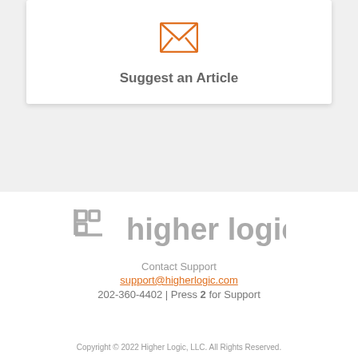[Figure (illustration): Orange envelope/mail icon centered in a white card on a light gray background]
Suggest an Article
[Figure (logo): Higher Logic logo: gray bracket icon with 'higher logic' text in gray]
Contact Support
support@higherlogic.com
202-360-4402 | Press 2 for Support
Copyright © 2022 Higher Logic, LLC. All Rights Reserved.